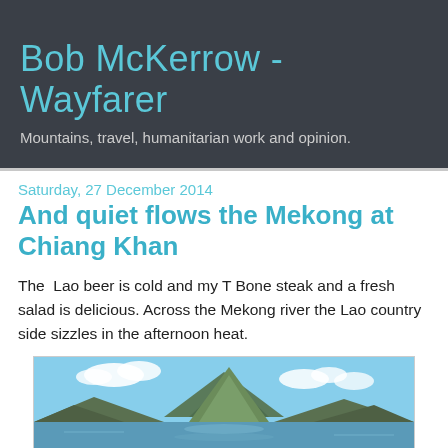Bob McKerrow - Wayfarer
Mountains, travel, humanitarian work and opinion.
Saturday, 27 December 2014
And quiet flows the Mekong at Chiang Khan
The  Lao beer is cold and my T Bone steak and a fresh salad is delicious. Across the Mekong river the Lao country side sizzles in the afternoon heat.
[Figure (photo): Landscape photo showing a mountain with a conical peak reflected in a river or lake, with blue sky and clouds, along the Mekong at Chiang Khan]